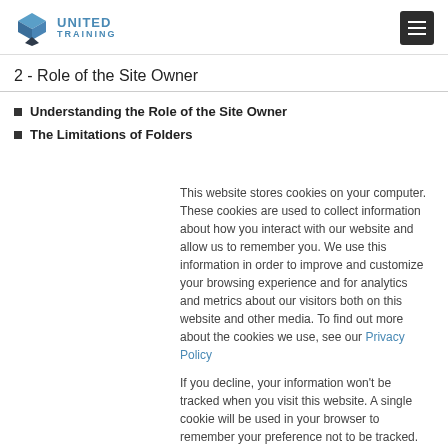United Training
2 - Role of the Site Owner
Understanding the Role of the Site Owner
The Limitations of Folders
This website stores cookies on your computer. These cookies are used to collect information about how you interact with our website and allow us to remember you. We use this information in order to improve and customize your browsing experience and for analytics and metrics about our visitors both on this website and other media. To find out more about the cookies we use, see our Privacy Policy
If you decline, your information won't be tracked when you visit this website. A single cookie will be used in your browser to remember your preference not to be tracked.
Cookies settings | Accept All | Decline All